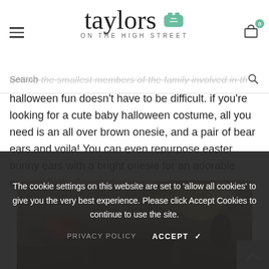taylors ON THE HIGH STREET
getting the smallest members of the family involved in the halloween fun doesn't have to be difficult. if you're looking for a cute baby halloween costume, all you need is an all over brown onesie, and a pair of bear ears and voila! You can even repurpose easter bunny ears with a bright onesie for an adorable ensemble that's sure to impress.
[Figure (photo): Halloween themed table scene with pumpkins, flowers and autumn decorations photographed from close-up]
The cookie settings on this website are set to 'allow all cookies' to give you the very best experience. Please click Accept Cookies to continue to use the site.